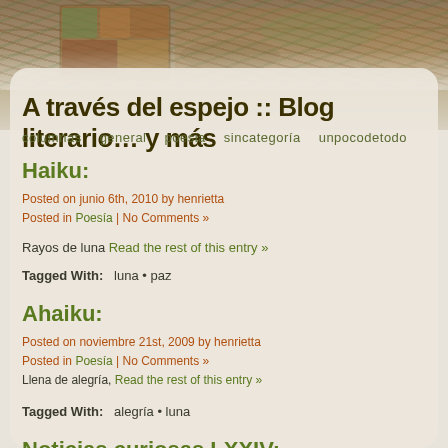[Figure (photo): Textured stone/paint background header image with earthy tones of brown, green, and orange]
A través del espejo :: Blog literario… y más
columnas   general   poesia   sincategoría   unpocodetodo
Haiku:
Posted on junio 6th, 2010 by henrietta
Posted in Poesía | No Comments »
Rayos de luna Read the rest of this entry »
Tagged With:   luna • paz
Ahaiku:
Posted on noviembre 21st, 2009 by henrietta
Posted in Poesía | No Comments »
Llena de alegría, Read the rest of this entry »
Tagged With:   alegría • luna
Noticias curiosas LXXIV:
Posted on noviembre 3rd, 2009 by henrietta
Posted in Un poco de todo | No Comments »
Nuestra primera noticia curiosa nos habla de un Récord Guinness con m